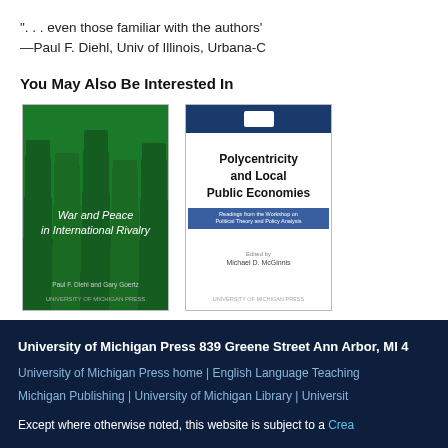". . . even those familiar with the authors' —Paul F. Diehl, Univ of Illinois, Urbana-C
You May Also Be Interested In
[Figure (illustration): Book cover: War and Peace in International Rivalry by Paul F. Diehl and Gary Goertz. Dark green cover with geometric stripe pattern.]
[Figure (illustration): Book cover: Polycentricity and Local Public Economies. Readings from the Workshop on Political Theory and Policy Analysis. Edited by Michael D. McGinnis. White cover with blue header and blue band.]
University of Michigan Press 839 Greene Street Ann Arbor, MI 4
University of Michigan Press home | English Language Teaching
Michigan Publishing | University of Michigan Library | Universit
Except where otherwise noted, this website is subject to a Crea